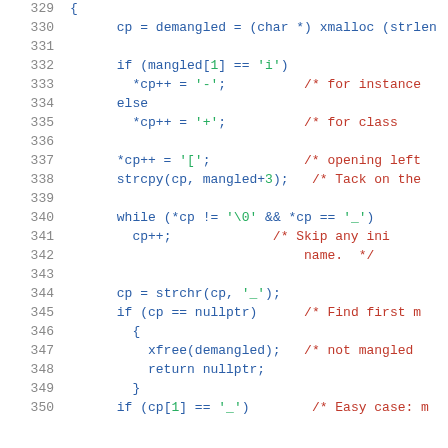[Figure (screenshot): Source code listing in C/C++ with syntax highlighting, showing lines 329-350 of a demangling function. Line numbers in gray on left, code in blue, string literals in green, comments in red.]